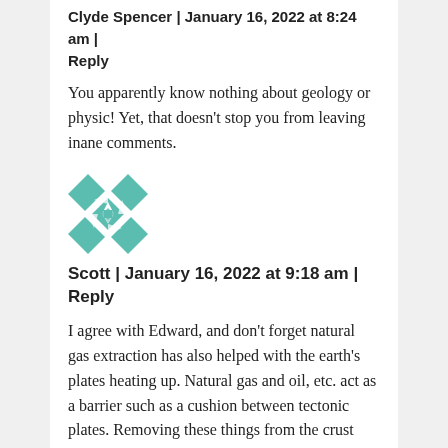Clyde Spencer | January 16, 2022 at 8:24 am | Reply
You apparently know nothing about geology or physic! Yet, that doesn't stop you from leaving inane comments.
[Figure (illustration): Teal and white geometric quilt-pattern avatar icon]
Scott | January 16, 2022 at 9:18 am | Reply
I agree with Edward, and don't forget natural gas extraction has also helped with the earth's plates heating up. Natural gas and oil, etc. act as a barrier such as a cushion between tectonic plates. Removing these things from the crust and uppermost mantle contributes to the